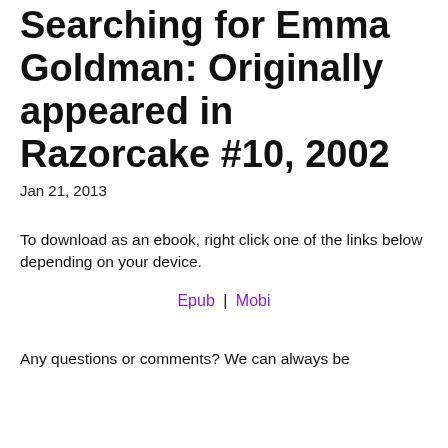Searching for Emma Goldman: Originally appeared in Razorcake #10, 2002
Jan 21, 2013
To download as an ebook, right click one of the links below depending on your device.
Epub | Mobi
Any questions or comments? We can always be